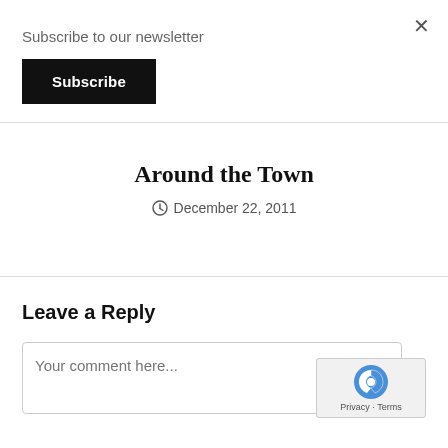Subscribe to our newsletter
Subscribe
Around the Town
December 22, 2011
Leave a Reply
Your comment here...